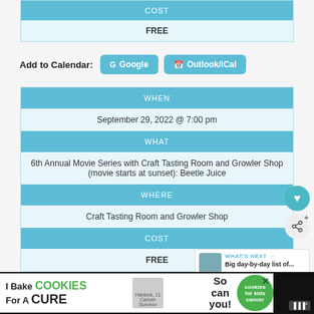| COST |
| --- |
| FREE |
Add to Calendar: Google | Outlook/iCal
| WHEN |
| --- |
| September 29, 2022 @ 7:00 pm |
| WHAT |
| 6th Annual Movie Series with Craft Tasting Room and Growler Shop (movie starts at sunset): Beetle Juice |
| WHERE |
| Craft Tasting Room and Growler Shop |
| COST |
| FREE |
[Figure (infographic): What's Next callout: Big day-by-day list of...]
[Figure (infographic): Advertisement banner: I Bake COOKIES For A CURE - cookies for kids cancer]